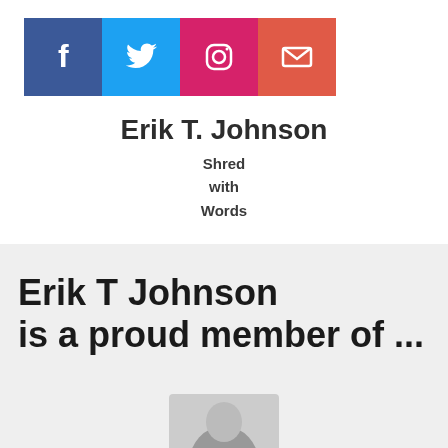[Figure (infographic): Social media icons banner: Facebook (blue), Twitter (light blue), Instagram (pink/magenta), Email (red/coral)]
Erik T. Johnson
Shred
with
Words
Erik T Johnson is a proud member of ...
[Figure (photo): Partial photo of a person, cropped at bottom of page]